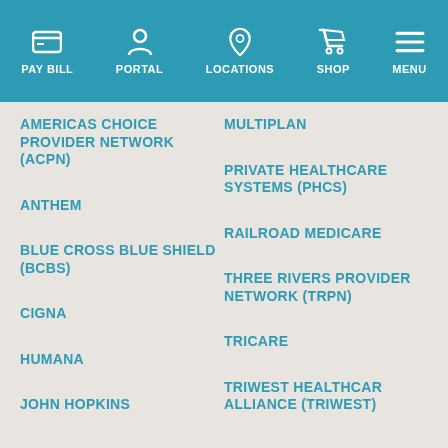PAY BILL | PORTAL | LOCATIONS | SHOP | MENU
AMERICAS CHOICE PROVIDER NETWORK (ACPN)
MULTIPLAN
ANTHEM
PRIVATE HEALTHCARE SYSTEMS (PHCS)
BLUE CROSS BLUE SHIELD (BCBS)
RAILROAD MEDICARE
CIGNA
THREE RIVERS PROVIDER NETWORK (TRPN)
HUMANA
TRICARE
JOHN HOPKINS
TRIWEST HEALTHCARE ALLIANCE (TRIWEST)